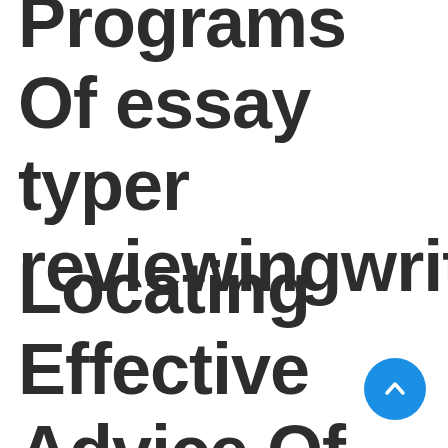Programs Of essay typer reviewingwriting
Locating Effective Advice Of essaytyper